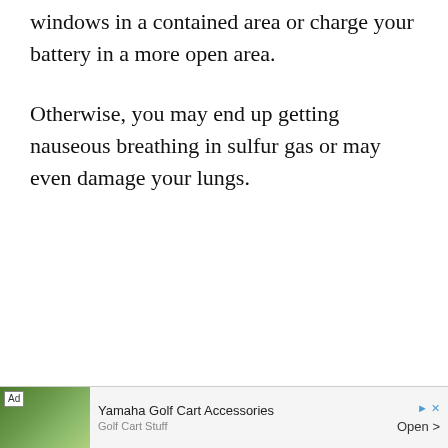windows in a contained area or charge your battery in a more open area.
Otherwise, you may end up getting nauseous breathing in sulfur gas or may even damage your lungs.
[Figure (other): Advertisement banner at the bottom of the page. Shows an 'Ad' label, an image of a golf cart scene, text 'Yamaha Golf Cart Accessories' and 'Golf Cart Stuff', with an 'Open >' button and close controls.]